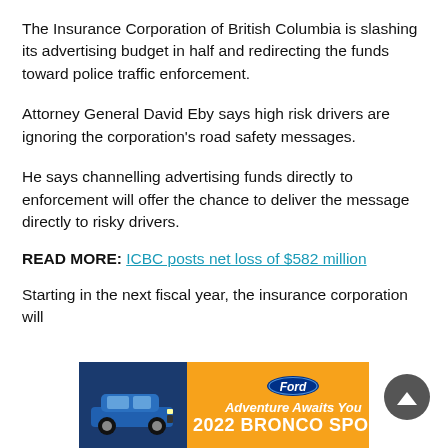The Insurance Corporation of British Columbia is slashing its advertising budget in half and redirecting the funds toward police traffic enforcement.
Attorney General David Eby says high risk drivers are ignoring the corporation's road safety messages.
He says channelling advertising funds directly to enforcement will offer the chance to deliver the message directly to risky drivers.
READ MORE: ICBC posts net loss of $582 million
Starting in the next fiscal year, the insurance corporation will
[Figure (advertisement): Ford 2022 Bronco Sport advertisement with orange background, blue SUV image on left, Ford oval badge, text 'Adventure Awaits You' and '2022 BRONCO SPORT']